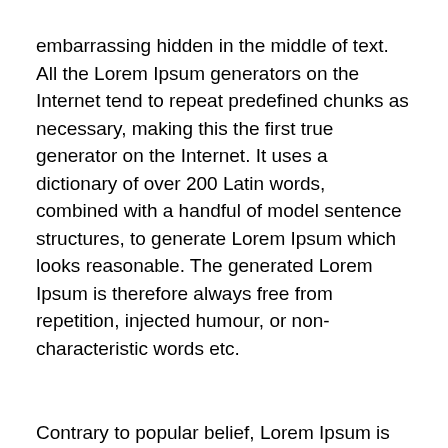embarrassing hidden in the middle of text. All the Lorem Ipsum generators on the Internet tend to repeat predefined chunks as necessary, making this the first true generator on the Internet. It uses a dictionary of over 200 Latin words, combined with a handful of model sentence structures, to generate Lorem Ipsum which looks reasonable. The generated Lorem Ipsum is therefore always free from repetition, injected humour, or non-characteristic words etc.
Contrary to popular belief, Lorem Ipsum is not simply random text. Contrary to popular belief, Lorem Ipsum is not simply random text. Contrary to popular belief, Lorem Ipsum is not simply random text. Contrary to popular belief, Lorem Ipsum is not simply random text. Contrary to popular belief, Lorem Ipsum is not simply random text.
All the Lorem Ipsum generators on the Internet tend to repeat predefined chunks as necessary, making this the first true generator on the Internet. It uses a dictionary of over 200 Latin words, combined with a